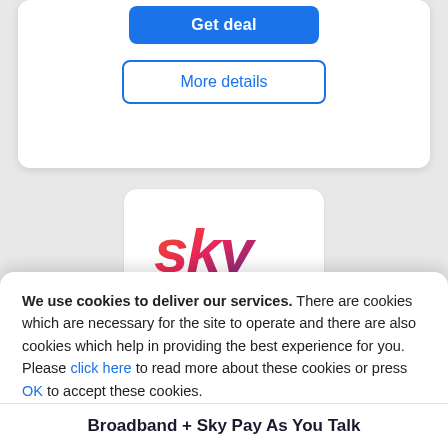[Figure (screenshot): Top card with 'Get deal' blue button and 'More details' outlined blue button]
[Figure (logo): Sky logo in gradient orange-to-purple italic text on a white rounded card]
We use cookies to deliver our services. There are cookies which are necessary for the site to operate and there are also cookies which help in providing the best experience for you. Please click here to read more about these cookies or press OK to accept these cookies.
[Figure (screenshot): Blue rounded OK button]
Broadband + Sky Pay As You Talk